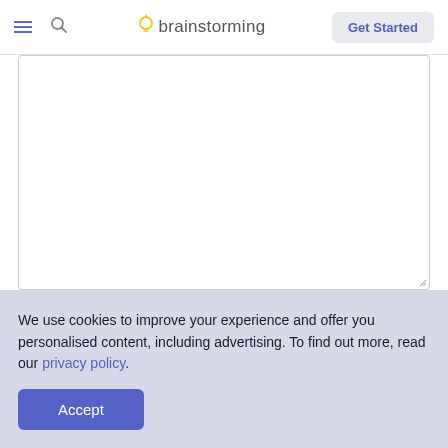brainstorming | Get Started
[Figure (screenshot): Empty white text area input box with a resize handle at the bottom-right corner]
References
Added via the text editor
We use cookies to improve your experience and offer you personalised content, including advertising. To find out more, read our privacy policy.
Accept